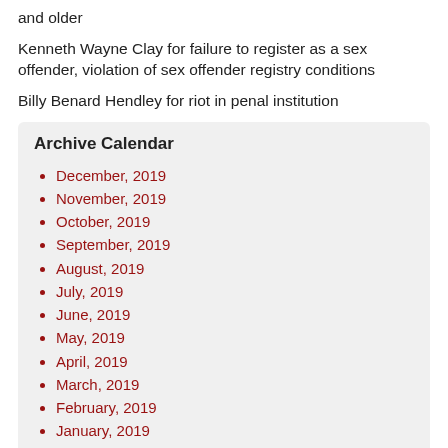and older
Kenneth Wayne Clay for failure to register as a sex offender, violation of sex offender registry conditions
Billy Benard Hendley for riot in penal institution
Archive Calendar
December, 2019
November, 2019
October, 2019
September, 2019
August, 2019
July, 2019
June, 2019
May, 2019
April, 2019
March, 2019
February, 2019
January, 2019
March, 2018
February, 2018
January, 2018
December, 2017